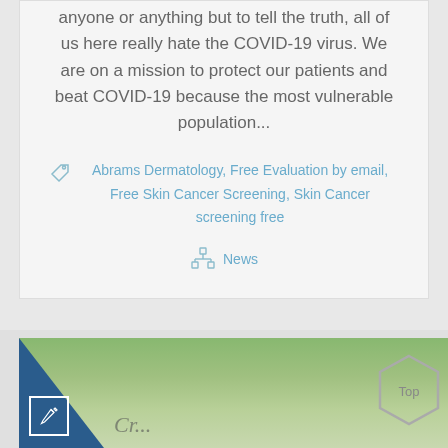anyone or anything but to tell the truth, all of us here really hate the COVID-19 virus. We are on a mission to protect our patients and beat COVID-19 because the most vulnerable population...
Abrams Dermatology, Free Evaluation by email, Free Skin Cancer Screening, Skin Cancer screening free
News
[Figure (photo): Bottom section showing partial image card with blue triangle in lower left, edit icon, green trees background, and a date badge reading July 2020. A hexagon 'Top' button appears in lower right.]